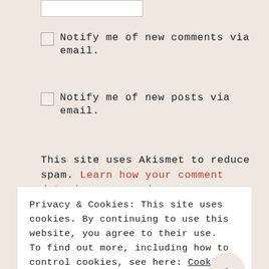Notify me of new comments via email.
Notify me of new posts via email.
This site uses Akismet to reduce spam. Learn how your comment data is processed.
Privacy & Cookies: This site uses cookies. By continuing to use this website, you agree to their use.
To find out more, including how to control cookies, see here: Cookie Policy
CLOSE AND ACCEPT